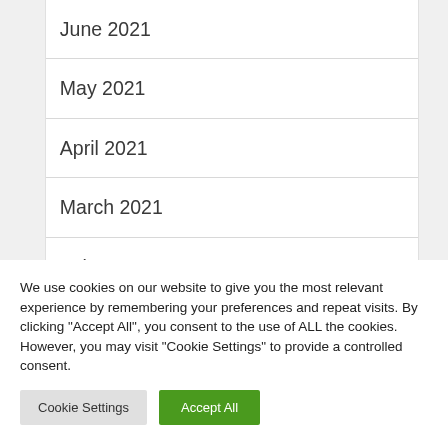June 2021
May 2021
April 2021
March 2021
February 2021
January 2021
We use cookies on our website to give you the most relevant experience by remembering your preferences and repeat visits. By clicking “Accept All”, you consent to the use of ALL the cookies. However, you may visit "Cookie Settings" to provide a controlled consent.